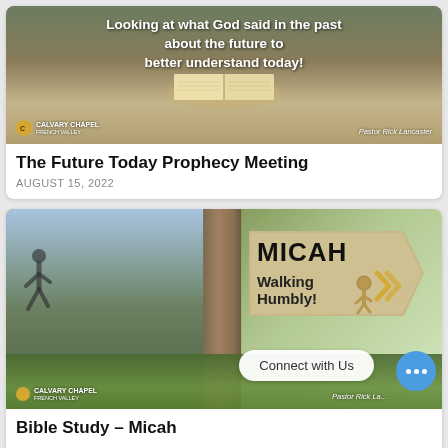[Figure (photo): Banner image showing an open Bible on a sandy surface with text overlay: 'Looking at what God said in the past about the future to better understand today!' with Calvary Chapel French Valley branding and Pastor Rick Lancaster attribution]
The Future Today Prophecy Meeting
AUGUST 15, 2022
[Figure (photo): Banner image showing a wooden signpost with 'MICAH Walking Humbly!' sign and a walking figure icon, with green fields and blue sky background. Shows a 'Connect with Us' button, Calvary Chapel French Valley branding and Pastor Rick Lancaster attribution]
Bible Study – Micah